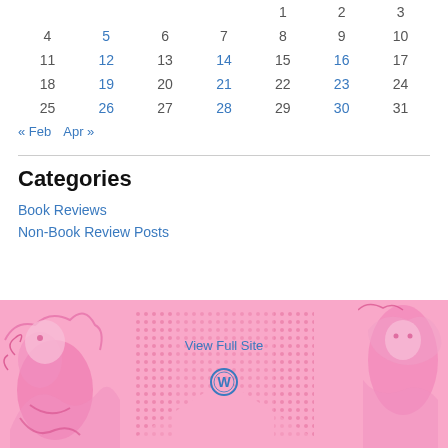| Sun | Mon | Tue | Wed | Thu | Fri | Sat |
| --- | --- | --- | --- | --- | --- | --- |
|  |  |  |  | 1 | 2 | 3 |
| 4 | 5 | 6 | 7 | 8 | 9 | 10 |
| 11 | 12 | 13 | 14 | 15 | 16 | 17 |
| 18 | 19 | 20 | 21 | 22 | 23 | 24 |
| 25 | 26 | 27 | 28 | 29 | 30 | 31 |
« Feb   Apr »
Categories
Book Reviews
Non-Book Review Posts
[Figure (illustration): Pink footer banner with decorative manga-style illustrations, dotted diamond pattern, 'View Full Site' link, and WordPress logo]